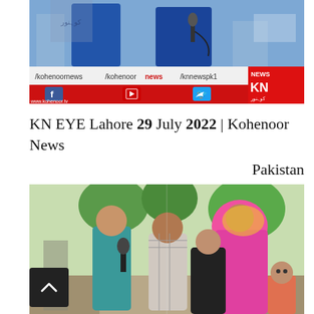[Figure (photo): Two men in blue clothing at a news event, one holding a microphone, outdoor setting with people in background]
[Figure (screenshot): Kohenoor News (KN) TV channel banner with social media handles: /kohenoornews on Facebook, /kohenoor news on YouTube, /knnewspk1 on Twitter, KN News logo, website www.kohenoor.tv]
KN EYE Lahore 29 July 2022 | Kohenoor News Pakistan
[Figure (photo): Street interview scene with reporter and public including men and women in a park setting, one woman in pink hijab]